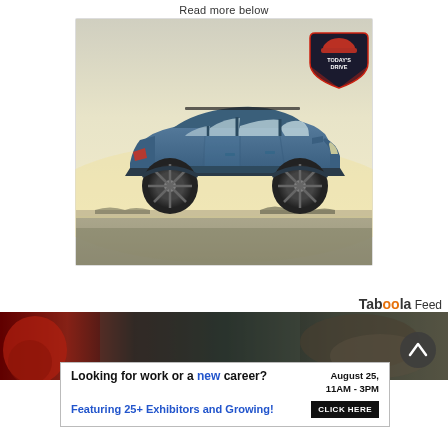Read more below
[Figure (photo): Side profile photo of a blue Subaru crossover SUV parked on grass with a pale yellow sky background. A 'Today's Drive' logo badge appears in the upper right corner of the image.]
Taboola Feed
[Figure (photo): Dark photographic strip showing blurred outdoor scene, partially obscured, with a circular scroll-up button (chevron up arrow) on the right side.]
Looking for work or a new career? August 25, 11AM - 3PM Featuring 25+ Exhibitors and Growing! CLICK HERE